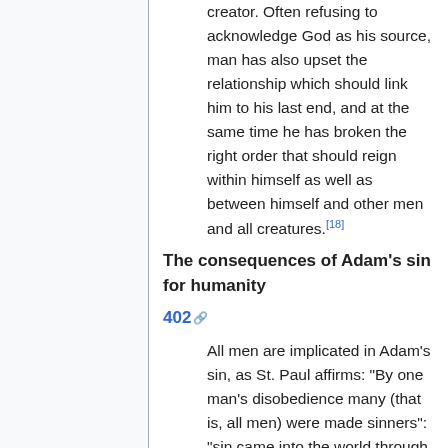creator. Often refusing to acknowledge God as his source, man has also upset the relationship which should link him to his last end, and at the same time he has broken the right order that should reign within himself as well as between himself and other men and all creatures.[18]
The consequences of Adam's sin for humanity
402
All men are implicated in Adam's sin, as St. Paul affirms: "By one man's disobedience many (that is, all men) were made sinners": "sin came into the world through one man and death through sin, and so death spread to all men because all men sinned"[19] The Apostle contrasts the